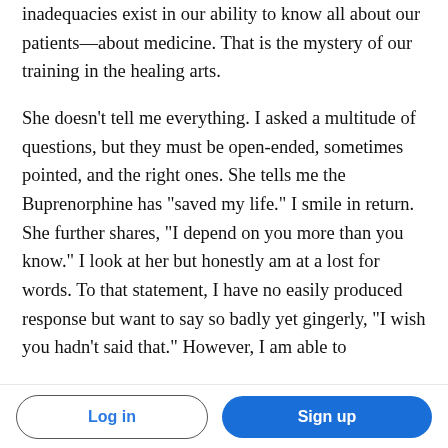inadequacies exist in our ability to know all about our patients—about medicine. That is the mystery of our training in the healing arts.
She doesn't tell me everything. I asked a multitude of questions, but they must be open-ended, sometimes pointed, and the right ones. She tells me the Buprenorphine has "saved my life." I smile in return. She further shares, "I depend on you more than you know." I look at her but honestly am at a lost for words. To that statement, I have no easily produced response but want to say so badly yet gingerly, "I wish you hadn't said that." However, I am able to
Log in   Sign up